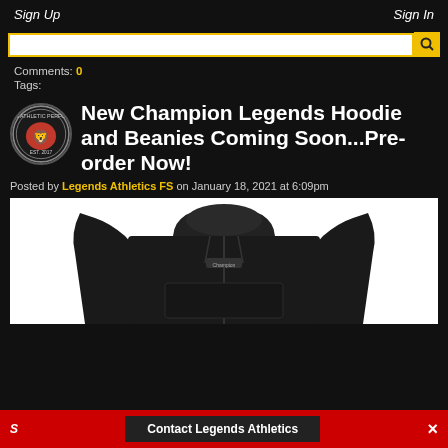Sign Up   Sign In
Comments: 0
Tags:
New Champion Legends Hoodie and Beanies Coming Soon...Pre-order Now!
Posted by Legends Athletics FS on January 18, 2021 at 6:09pm
[Figure (photo): Black Champion hoodie product photo on white background]
Contact Legends Athletics